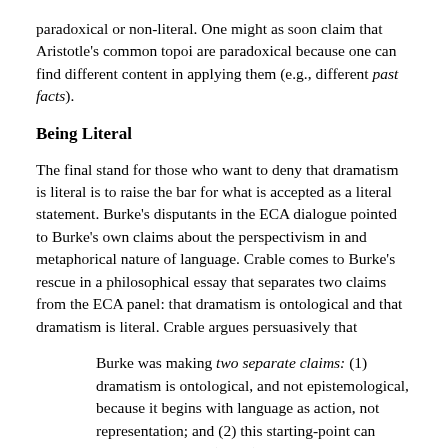paradoxical or non-literal. One might as soon claim that Aristotle's common topoi are paradoxical because one can find different content in applying them (e.g., different past facts).
Being Literal
The final stand for those who want to deny that dramatism is literal is to raise the bar for what is accepted as a literal statement. Burke's disputants in the ECA dialogue pointed to Burke's own claims about the perspectivism in and metaphorical nature of language. Crable comes to Burke's rescue in a philosophical essay that separates two claims from the ECA panel: that dramatism is ontological and that dramatism is literal. Crable argues persuasively that
Burke was making two separate claims: (1) dramatism is ontological, and not epistemological, because it begins with language as action, not representation; and (2) this starting-point can claim a privileged (literal) status because, compared to scientism or behaviorism, it offers a more complete approach to the study of motivation. (324)
Key to Crable's argument about dramatism's literalness is a watering down of what it means to say that something is literal